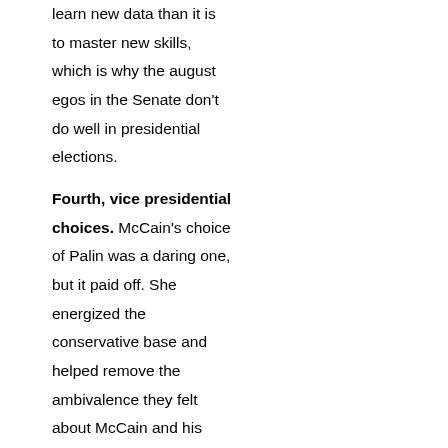learn new data than it is to master new skills, which is why the august egos in the Senate don't do well in presidential elections.
Fourth, vice presidential choices. McCain's choice of Palin was a daring one, but it paid off. She energized the conservative base and helped remove the ambivalence they felt about McCain and his history of poking them in the eye. No other